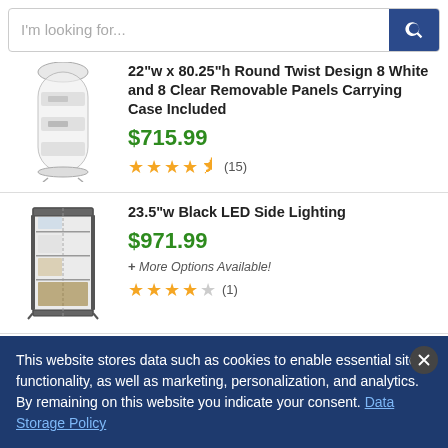I'm looking for...
22"w x 80.25"h Round Twist Design 8 White and 8 Clear Removable Panels Carrying Case Included
$715.99
★★★★½ (15)
23.5"w Black LED Side Lighting
$971.99
+ More Options Available!
★★★★☆ (1)
This website stores data such as cookies to enable essential site functionality, as well as marketing, personalization, and analytics. By remaining on this website you indicate your consent. Data Storage Policy